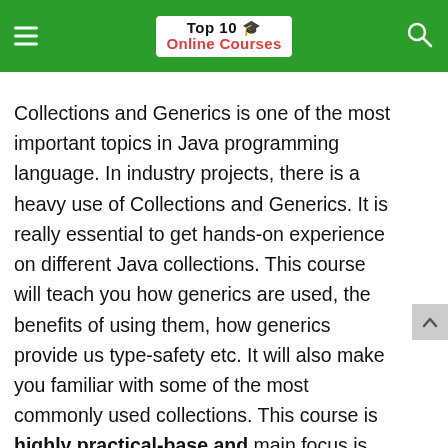Top 10 🎓 Online Courses
Collections and Generics is one of the most important topics in Java programming language. In industry projects, there is a heavy use of Collections and Generics. It is really essential to get hands-on experience on different Java collections. This course will teach you how generics are used, the benefits of using them, how generics provide us type-safety etc. It will also make you familiar with some of the most commonly used collections. This course is highly practical-base and main focus is on practicals rather than the theory.
Some of the highlights of this course:-